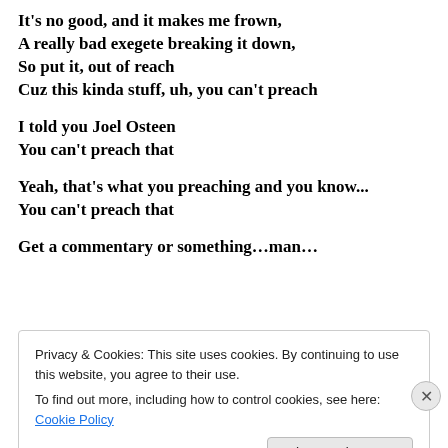It's no good, and it makes me frown,
A really bad exegete breaking it down,
So put it, out of reach
Cuz this kinda stuff, uh, you can't preach
I told you Joel Osteen
You can't preach that
Yeah, that's what you preaching and you know...
You can't preach that
Get a commentary or something…man…
Privacy & Cookies: This site uses cookies. By continuing to use this website, you agree to their use.
To find out more, including how to control cookies, see here: Cookie Policy
Close and accept